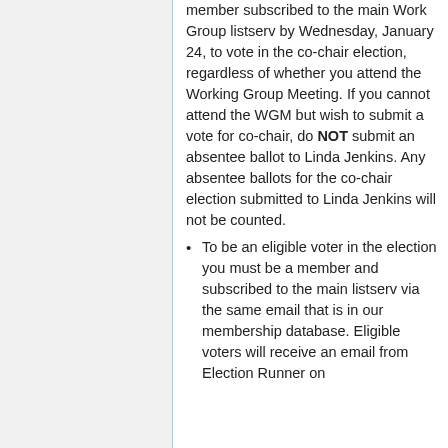member subscribed to the main Work Group listserv by Wednesday, January 24, to vote in the co-chair election, regardless of whether you attend the Working Group Meeting. If you cannot attend the WGM but wish to submit a vote for co-chair, do NOT submit an absentee ballot to Linda Jenkins. Any absentee ballots for the co-chair election submitted to Linda Jenkins will not be counted.
To be an eligible voter in the election you must be a member and subscribed to the main listserv via the same email that is in our membership database. Eligible voters will receive an email from Election Runner on